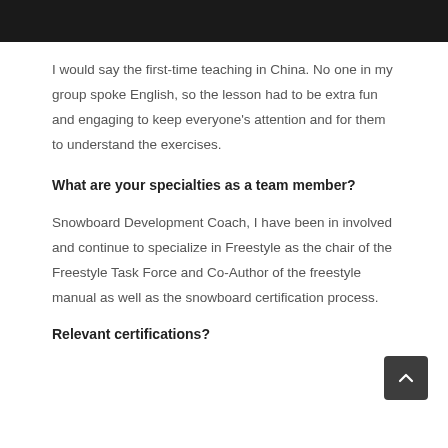I would say the first-time teaching in China. No one in my group spoke English, so the lesson had to be extra fun and engaging to keep everyone's attention and for them to understand the exercises.
What are your specialties as a team member?
Snowboard Development Coach, I have been in involved and continue to specialize in Freestyle as the chair of the Freestyle Task Force and Co-Author of the freestyle manual as well as the snowboard certification process.
Relevant certifications?